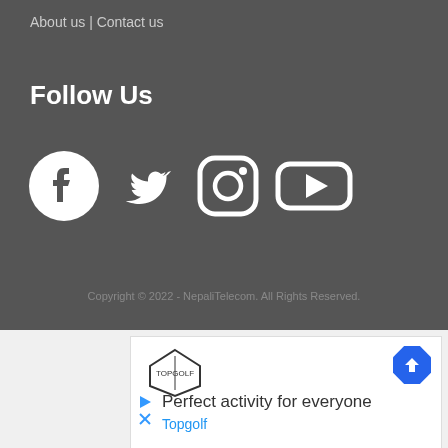About us | Contact us
Follow Us
[Figure (illustration): Four social media icons in white: Facebook circle, Twitter bird, Instagram camera, YouTube play button]
Copyright © 2022 - NepaliTelecom. All Rights Reserved.
[Figure (screenshot): Advertisement banner with TopGolf logo, navigation arrow icon, play/close icons, text 'Perfect activity for everyone' and 'Topgolf']